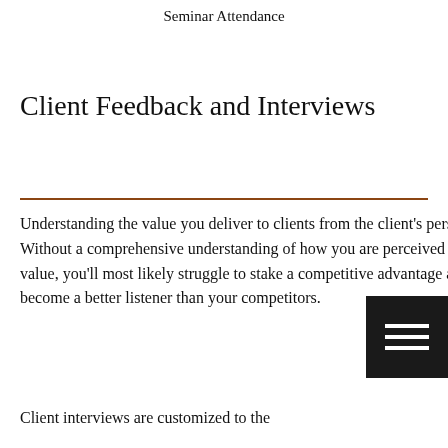Seminar Attendance
Client Feedback and Interviews
Understanding the value you deliver to clients from the client's perspective is critical to growing your practice. Without a comprehensive understanding of how you are perceived by clients and where you deliver exceptional value, you'll most likely struggle to stake a competitive advantage and grow your practice. To do this, you must become a better listener than your competitors.
Client interviews are customized to the